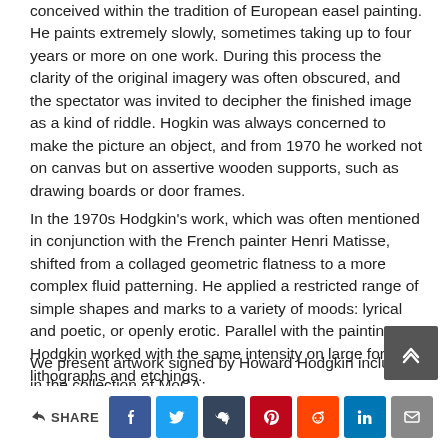conceived within the tradition of European easel painting. He paints extremely slowly, sometimes taking up to four years or more on one work. During this process the clarity of the original imagery was often obscured, and the spectator was invited to decipher the finished image as a kind of riddle. Hogkin was always concerned to make the picture an object, and from 1970 he worked not on canvas but on assertive wooden supports, such as drawing boards or door frames.
In the 1970s Hodgkin's work, which was often mentioned in conjunction with the French painter Henri Matisse, shifted from a collaged geometric flatness to a more complex fluid patterning. He applied a restricted range of simple shapes and marks to a variety of moods: lyrical and poetic, or openly erotic. Parallel with the painting Hodgkin worked with the same intensity on large format lithographs and etchings.
We present artwork signed by Howard Hodgkin included in the collection of MoCA:
Untitled, 1986, color etching on paper, 47,5×64,5cm
SHARE